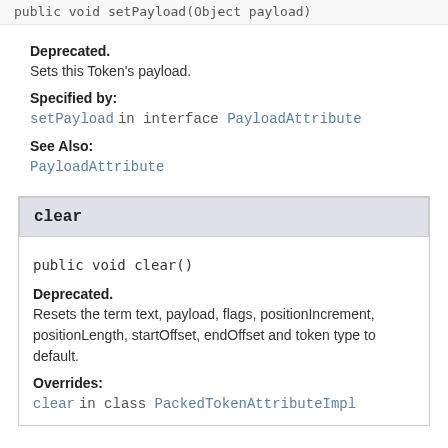public void setPayload(Object payload)
Deprecated.
Sets this Token's payload.
Specified by:
setPayload in interface PayloadAttribute
See Also:
PayloadAttribute
clear
public void clear()
Deprecated.
Resets the term text, payload, flags, positionIncrement, positionLength, startOffset, endOffset and token type to default.
Overrides:
clear in class PackedTokenAttributeImpl